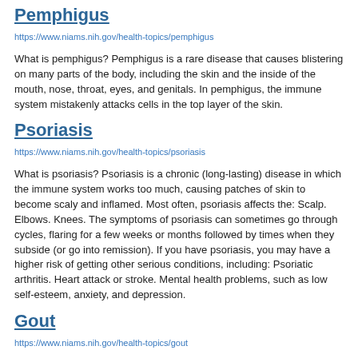Pemphigus
https://www.niams.nih.gov/health-topics/pemphigus
What is pemphigus? Pemphigus is a rare disease that causes blistering on many parts of the body, including the skin and the inside of the mouth, nose, throat, eyes, and genitals. In pemphigus, the immune system mistakenly attacks cells in the top layer of the skin.
Psoriasis
https://www.niams.nih.gov/health-topics/psoriasis
What is psoriasis? Psoriasis is a chronic (long-lasting) disease in which the immune system works too much, causing patches of skin to become scaly and inflamed. Most often, psoriasis affects the: Scalp. Elbows. Knees. The symptoms of psoriasis can sometimes go through cycles, flaring for a few weeks or months followed by times when they subside (or go into remission). If you have psoriasis, you may have a higher risk of getting other serious conditions, including: Psoriatic arthritis. Heart attack or stroke. Mental health problems, such as low self-esteem, anxiety, and depression.
Gout
https://www.niams.nih.gov/health-topics/gout
What is gout? Gout is a form of arthritis that causes extremely painful...